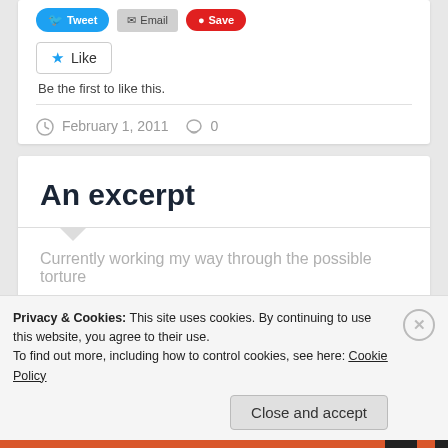[Figure (screenshot): Social sharing buttons: Tweet (blue), Email (gray), Save (red)]
[Figure (screenshot): Like button with star icon and text 'Like']
Be the first to like this.
February 1, 2011   0
An excerpt
Currently working my way through the possible torture
Privacy & Cookies: This site uses cookies. By continuing to use this website, you agree to their use.
To find out more, including how to control cookies, see here: Cookie Policy
Close and accept